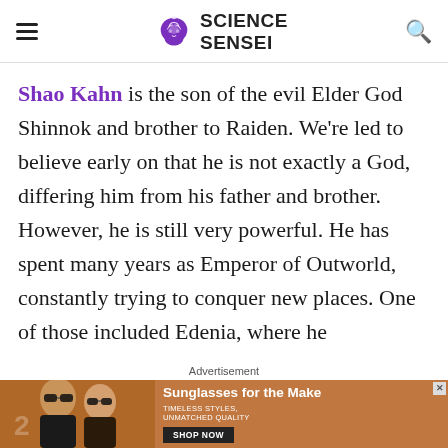SCIENCE SENSEI
Shao Kahn is the son of the evil Elder God Shinnok and brother to Raiden. We're led to believe early on that he is not exactly a God, differing him from his father and brother. However, he is still very powerful. He has spent many years as Emperor of Outworld, constantly trying to conquer new places. One of those included Edenia, where he
Advertisement
[Figure (photo): Advertisement banner showing two people wearing sunglasses with text 'Sunglasses for the Make' and a Shop Now button]